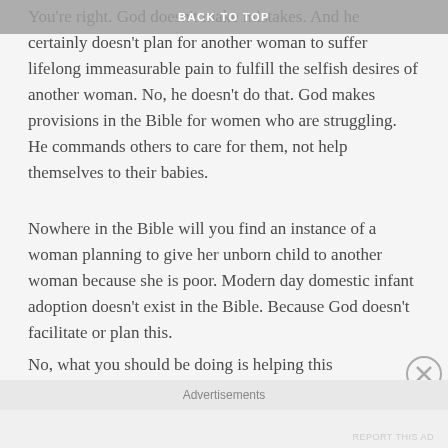BACK TO TOP
You're right. God doesn't make mistakes. And he certainly doesn't plan for another woman to suffer lifelong immeasurable pain to fulfill the selfish desires of another woman. No, he doesn't do that. God makes provisions in the Bible for women who are struggling. He commands others to care for them, not help themselves to their babies.
Nowhere in the Bible will you find an instance of a woman planning to give her unborn child to another woman because she is poor. Modern day domestic infant adoption doesn't exist in the Bible. Because God doesn't facilitate or plan this.
No, what you should be doing is helping this mother keep her baby. You know, the mother you say you care about so
Advertisements